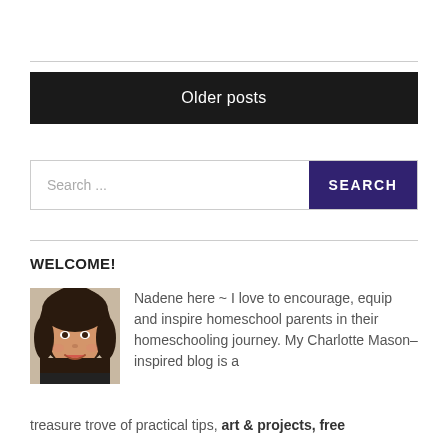Older posts
Search ...
WELCOME!
[Figure (photo): Portrait photo of Nadene, a woman with dark hair, smiling]
Nadene here ~ I love to encourage, equip and inspire homeschool parents in their homeschooling journey. My Charlotte Mason–inspired blog is a treasure trove of practical tips, art & projects, free